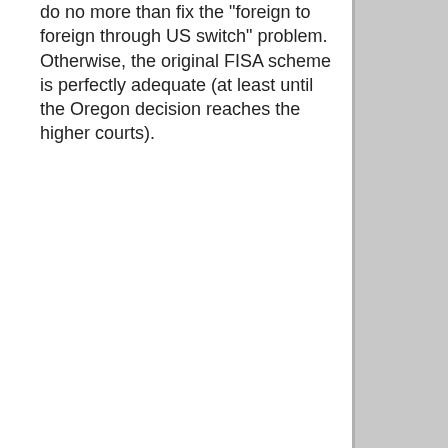do no more than fix the "foreign to foreign through US switch" problem. Otherwise, the original FISA scheme is perfectly adequate (at least until the Oregon decision reaches the higher courts).
Posted by: litigatormom | October 07, 2007 at 18:21
I guess that lets the cat out of the bag: when the telcoms rewired the backbone in the early 90's, they neglected to tell their foreign